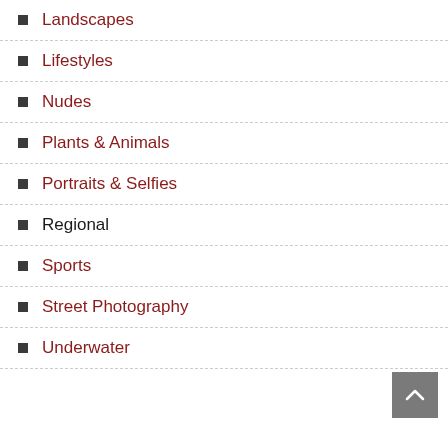Landscapes
Lifestyles
Nudes
Plants & Animals
Portraits & Selfies
Regional
Sports
Street Photography
Underwater